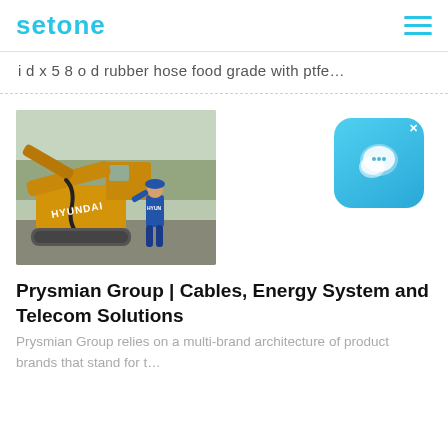setone
i d x 5 8 o d rubber hose food grade with ptfe…
[Figure (photo): Hyundai excavator with a worker in blue uniform standing beside it, hydraulic hose visible on the arm of the excavator.]
[Figure (other): Chat/messaging app widget icon with speech bubble, blue rounded square with an x close button.]
Prysmian Group | Cables, Energy System and Telecom Solutions
Prysmian Group relies on a multi-brand architecture of product brands that stand for t…